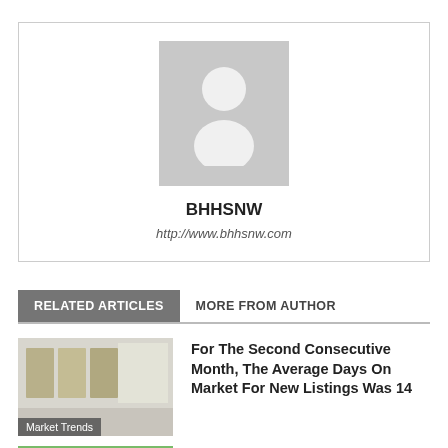[Figure (illustration): Author avatar placeholder box with grey silhouette person icon, bold name BHHSNW, and italic URL http://www.bhhsnw.com]
BHHSNW
http://www.bhhsnw.com
RELATED ARTICLES   MORE FROM AUTHOR
[Figure (photo): Thumbnail of modern kitchen interior, labeled Market Trends]
For The Second Consecutive Month, The Average Days On Market For New Listings Was 14
[Figure (photo): Green thumbnail image, partially visible at bottom]